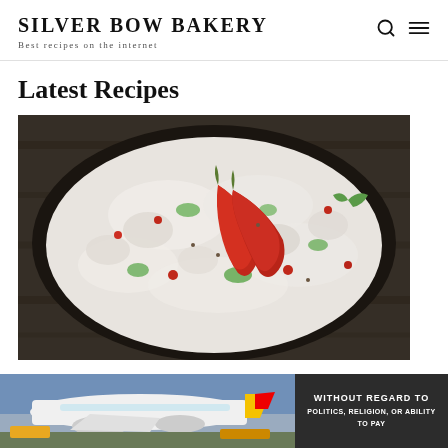SILVER BOW BAKERY — Best recipes on the internet
Latest Recipes
[Figure (photo): A dark bowl filled with a creamy white dish (raita or similar yogurt-based preparation) garnished with red chili peppers, green herbs, pomegranate seeds, and spices, shot on a dark wooden surface.]
FOOD
Good Biryani with bold spri...